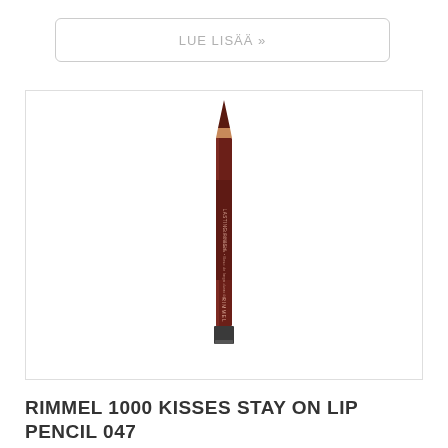LUE LISÄÄ »
[Figure (photo): A Rimmel 1000 Kisses Stay On Lip Pencil in shade 047, a dark brown/maroon lip liner pencil shown vertically with a pointed tip at the top and the brand name visible on the barrel.]
RIMMEL 1000 KISSES STAY ON LIP PENCIL 047